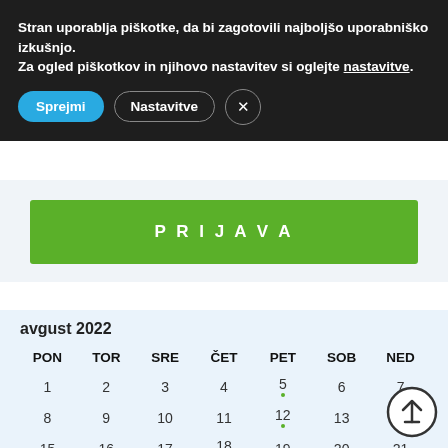Stran uporablja piškotke, da bi zagotovili najboljšo uporabniško izkušnjo.
Za ogled piškotkov in njihovo nastavitev si oglejte nastavitve.
Sprejmi
Nastavitve
PRIJAVA
avgust 2022
| PON | TOR | SRE | ČET | PET | SOB | NED |
| --- | --- | --- | --- | --- | --- | --- |
| 1 | 2 | 3 | 4 | 5 | 6 | 7 |
| 8 | 9 | 10 | 11 | 12 | 13 | 14 |
| 15 | 16 | 17 | 18 | 19 | 20 | 21 |
| 22 | 23 | 24 | 25 | 26 | 27 | 28 |